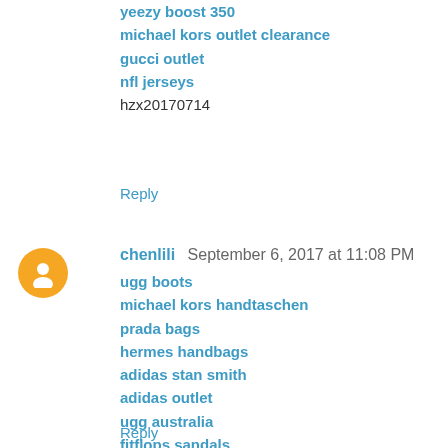yeezy boost 350
michael kors outlet clearance
gucci outlet
nfl jerseys
hzx20170714
Reply
chenlili  September 6, 2017 at 11:08 PM
ugg boots
michael kors handtaschen
prada bags
hermes handbags
adidas stan smith
adidas outlet
ugg australia
fitflops sandals
pandora charms
yeezy boost 350 v2
20179.7chenjinyan
Reply